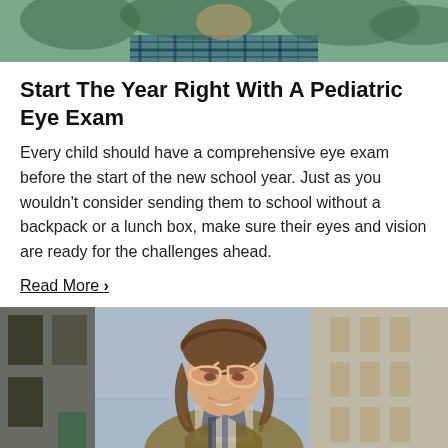[Figure (photo): Top portion of a child or young person wearing a blue and green plaid flannel shirt, outdoors with trees in background]
Start The Year Right With A Pediatric Eye Exam
Every child should have a comprehensive eye exam before the start of the new school year. Just as you wouldn't consider sending them to school without a backpack or a lunch box, make sure their eyes and vision are ready for the challenges ahead.
Read More ❯
[Figure (photo): Woman with short wavy brown hair wearing cat-eye sunglasses with pink/gold frames, smiling, wearing an olive/tan jacket with a scarf, photographed outdoors on a city street with stone buildings in the background]